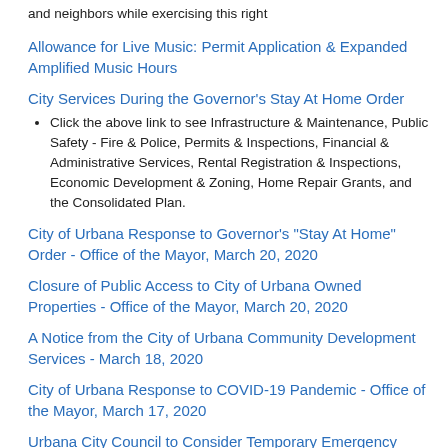and neighbors while exercising this right
Allowance for Live Music: Permit Application & Expanded Amplified Music Hours
City Services During the Governor's Stay At Home Order
Click the above link to see Infrastructure & Maintenance, Public Safety - Fire & Police, Permits & Inspections, Financial & Administrative Services, Rental Registration & Inspections, Economic Development & Zoning, Home Repair Grants, and the Consolidated Plan.
City of Urbana Response to Governor's "Stay At Home" Order - Office of the Mayor, March 20, 2020
Closure of Public Access to City of Urbana Owned Properties - Office of the Mayor, March 20, 2020
A Notice from the City of Urbana Community Development Services - March 18, 2020
City of Urbana Response to COVID-19 Pandemic - Office of the Mayor, March 17, 2020
Urbana City Council to Consider Temporary Emergency Ordinance Related to COVID-19, March 16, 2020